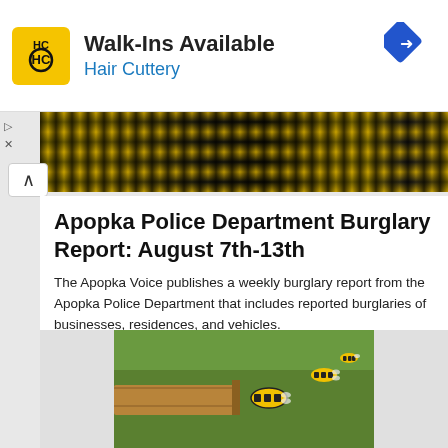[Figure (other): Hair Cuttery advertisement banner with yellow HC logo, 'Walk-Ins Available' text, 'Hair Cuttery' subtitle in blue, and a blue navigation arrow icon]
[Figure (photo): Crime scene tape image with yellow and black pattern, partially visible letters suggesting crime scene]
Apopka Police Department Burglary Report: August 7th-13th
The Apopka Voice publishes a weekly burglary report from the Apopka Police Department that includes reported burglaries of businesses, residences, and vehicles.
[Figure (photo): Photo of bees near wooden structure with green foliage background, bees visible in flight]